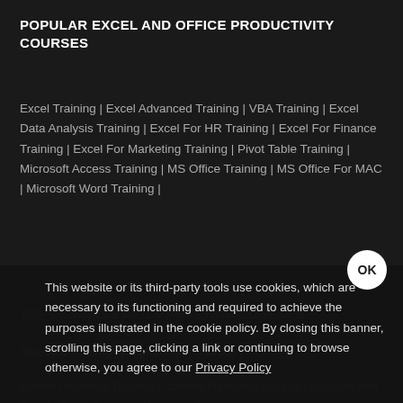POPULAR EXCEL AND OFFICE PRODUCTIVITY COURSES
Excel Training | Excel Advanced Training | VBA Training | Excel Data Analysis Training | Excel For HR Training | Excel For Finance Training | Excel For Marketing Training | Pivot Table Training | Microsoft Access Training | MS Office Training | MS Office For MAC | Microsoft Word Training |
TOP BUSINESS AND MARKETING COURSES
Statistics Training | Programming Training | Market Research Training | Content Marketing Course | Logistics And Supply Chain Training | Business Analysis
This website or its third-party tools use cookies, which are necessary to its functioning and required to achieve the purposes illustrated in the cookie policy. By closing this banner, scrolling this page, clicking a link or continuing to browse otherwise, you agree to our Privacy Policy